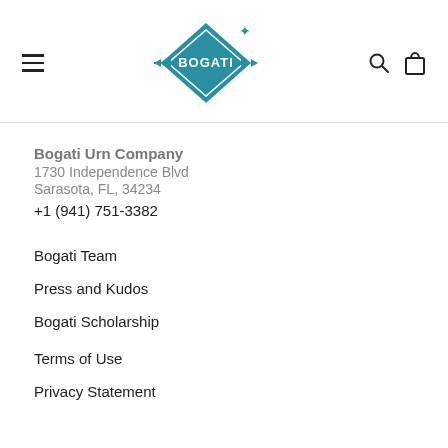BOGATI (logo, hamburger menu, search, cart icons)
Bogati Urn Company
1730 Independence Blvd
Sarasota, FL, 34234
+1 (941) 751-3382
Bogati Team
Press and Kudos
Bogati Scholarship
Terms of Use
Privacy Statement